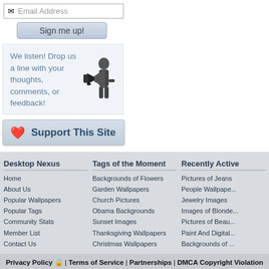[Figure (screenshot): Email address input field with envelope icon and 'Sign me up!' button]
We listen! Drop us a line with your thoughts, comments, or feedback!
Support This Site
Desktop Nexus
Home
About Us
Popular Wallpapers
Popular Tags
Community Stats
Member List
Contact Us
Tags of the Moment
Backgrounds of Flowers
Garden Wallpapers
Church Pictures
Obama Backgrounds
Sunset Images
Thanksgiving Wallpapers
Christmas Wallpapers
Recently Active
Pictures of Jeans
People Wallpape...
Jewelry Images
Images of Blonde...
Pictures of Beau...
Paint And Digital...
Backgrounds of ...
Privacy Policy | Terms of Service | Partnerships | DMCA Copyright Violation
© Desktop Nexus - All rights reserved.
Page rendered with 7 queries (and 0 cached) in 0.12 seconds from server 61.